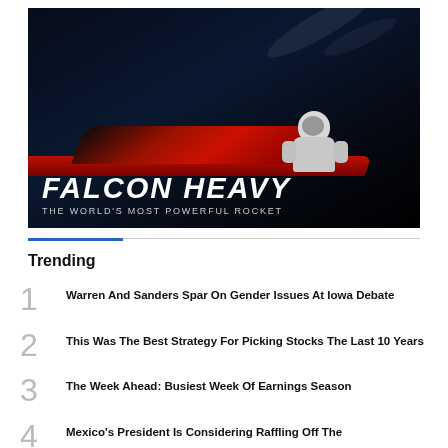[Figure (photo): Space photo of Tesla Roadster with astronaut mannequin in driver seat floating in space with Earth visible in background. Dark background. Text overlay reads 'FALCON HEAVY - THE WORLD'S MOST POWERFUL ROCKET'.]
FALCON HEAVY
THE WORLD'S MOST POWERFUL ROCKET
Trending
1 Warren And Sanders Spar On Gender Issues At Iowa Debate
2 This Was The Best Strategy For Picking Stocks The Last 10 Years
3 The Week Ahead: Busiest Week Of Earnings Season
4 Mexico's President Is Considering Raffling Off The